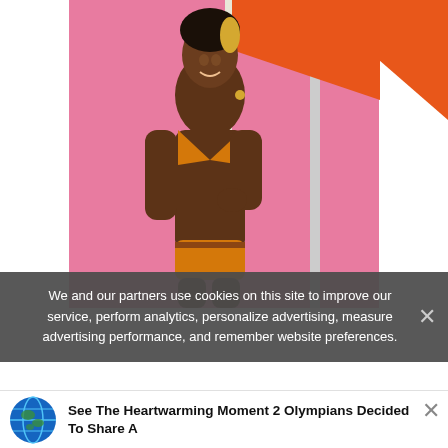[Figure (photo): A woman in an orange/yellow bikini holding a flag pole with an orange flag, standing against a pink background. She has short black and blonde hair and is smiling.]
We and our partners use cookies on this site to improve our service, perform analytics, personalize advertising, measure advertising performance, and remember website preferences.
See The Heartwarming Moment 2 Olympians Decided To Share A